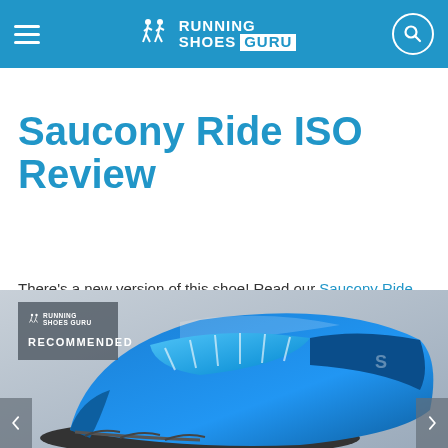Running Shoes Guru — navigation header
Saucony Ride ISO Review
There's a new version of this shoe! Read our Saucony Ride 13 Review
[Figure (photo): Blue Saucony Ride ISO running shoe close-up with RECOMMENDED badge overlay; left and right navigation arrows at bottom]
RECOMMENDED